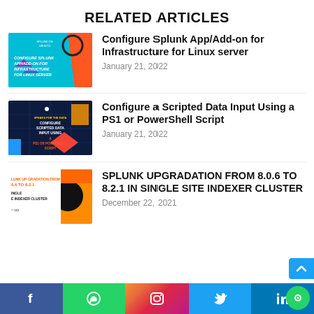RELATED ARTICLES
[Figure (illustration): Thumbnail for Configure Splunk App/Add-on for Infrastructure for Linux server article - cyan/blue background with orange shape]
Configure Splunk App/Add-on for Infrastructure for Linux server
January 21, 2022
[Figure (illustration): Thumbnail for Configure a Scripted Data Input Using a PS1 or PowerShell Script - dark navy background with colorful elements]
Configure a Scripted Data Input Using a PS1 or PowerShell Script
January 21, 2022
[Figure (illustration): Thumbnail for Splunk Upgradation article - white/orange/black design]
SPLUNK UPGRADATION FROM 8.0.6 TO 8.2.1 IN SINGLE SITE INDEXER CLUSTER
December 22, 2021
Social share bar: Facebook, WhatsApp, Instagram, Twitter, LinkedIn